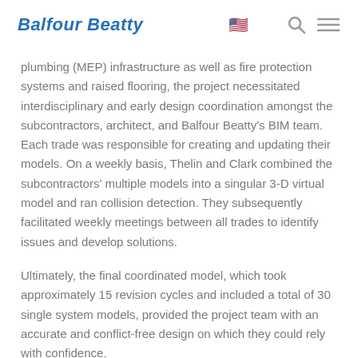Balfour Beatty
plumbing (MEP) infrastructure as well as fire protection systems and raised flooring, the project necessitated interdisciplinary and early design coordination amongst the subcontractors, architect, and Balfour Beatty’s BIM team. Each trade was responsible for creating and updating their models. On a weekly basis, Thelin and Clark combined the subcontractors’ multiple models into a singular 3-D virtual model and ran collision detection. They subsequently facilitated weekly meetings between all trades to identify issues and develop solutions.
Ultimately, the final coordinated model, which took approximately 15 revision cycles and included a total of 30 single system models, provided the project team with an accurate and conflict-free design on which they could rely with confidence.